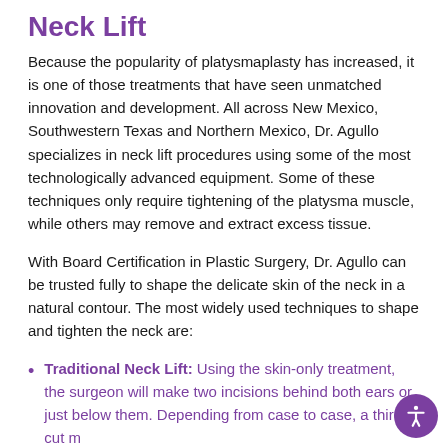Neck Lift
Because the popularity of platysmaplasty has increased, it is one of those treatments that have seen unmatched innovation and development. All across New Mexico, Southwestern Texas and Northern Mexico, Dr. Agullo specializes in neck lift procedures using some of the most technologically advanced equipment. Some of these techniques only require tightening of the platysma muscle, while others may remove and extract excess tissue.
With Board Certification in Plastic Surgery, Dr. Agullo can be trusted fully to shape the delicate skin of the neck in a natural contour. The most widely used techniques to shape and tighten the neck are:
Traditional Neck Lift: Using the skin-only treatment, the surgeon will make two incisions behind both ears or just below them. Depending from case to case, a third cut m…